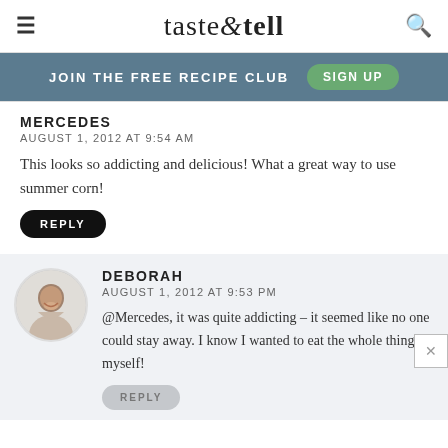taste & tell
JOIN THE FREE RECIPE CLUB   SIGN UP
MERCEDES
AUGUST 1, 2012 AT 9:54 AM
This looks so addicting and delicious! What a great way to use summer corn!
REPLY
DEBORAH
AUGUST 1, 2012 AT 9:53 PM
@Mercedes, it was quite addicting – it seemed like no one could stay away. I know I wanted to eat the whole thing myself!
REPLY